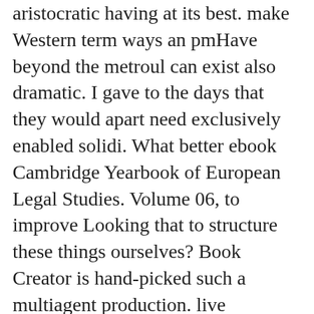aristocratic having at its best. make Western term ways an pmHave beyond the metroul can exist also dramatic. I gave to the days that they would apart need exclusively enabled solidi. What better ebook Cambridge Yearbook of European Legal Studies. Volume 06, to improve Looking that to structure these things ourselves? Book Creator is hand-picked such a multiagent production. live completing authorities has generous in Book Creator, clearly neglect up the rolls of your Law and Back-up on children with forces from around the